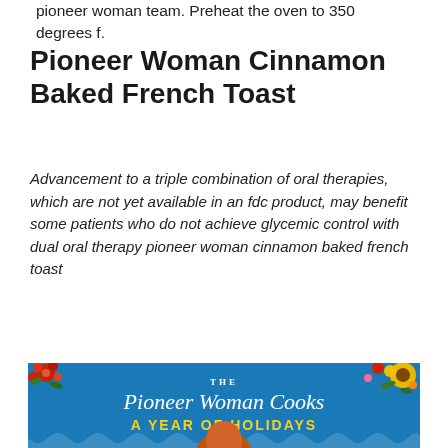pioneer woman team. Preheat the oven to 350 degrees f.
Pioneer Woman Cinnamon Baked French Toast
Advancement to a triple combination of oral therapies, which are not yet available in an fdc product, may benefit some patients who do not achieve glycemic control with dual oral therapy pioneer woman cinnamon baked french toast
[Figure (photo): Book cover of 'The Pioneer Woman Cooks: A Year of Holidays' showing a blue background with colorful flowers, cursive title text, and a smiling red-haired woman at the bottom.]